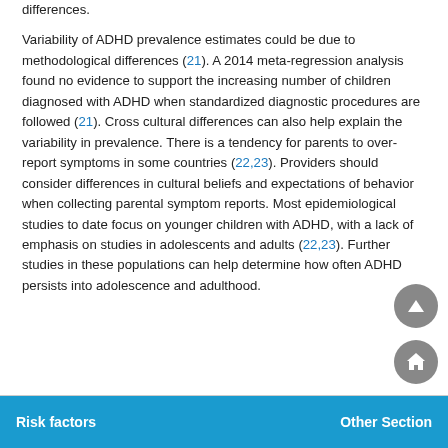differences.
Variability of ADHD prevalence estimates could be due to methodological differences (21). A 2014 meta-regression analysis found no evidence to support the increasing number of children diagnosed with ADHD when standardized diagnostic procedures are followed (21). Cross cultural differences can also help explain the variability in prevalence. There is a tendency for parents to over-report symptoms in some countries (22,23). Providers should consider differences in cultural beliefs and expectations of behavior when collecting parental symptom reports. Most epidemiological studies to date focus on younger children with ADHD, with a lack of emphasis on studies in adolescents and adults (22,23). Further studies in these populations can help determine how often ADHD persists into adolescence and adulthood.
Risk factors    Other Section